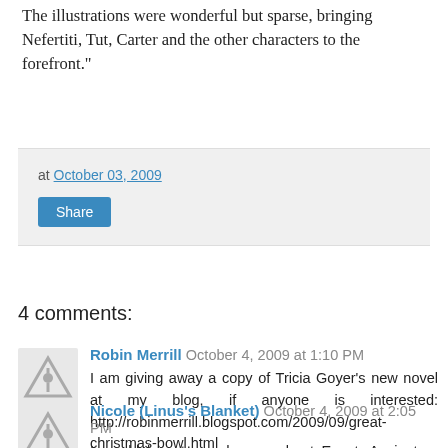The illustrations were wonderful but sparse, bringing Nefertiti, Tut, Carter and the other characters to the forefront."
at October 03, 2009
Share
4 comments:
Robin Merrill October 4, 2009 at 1:10 PM
I am giving away a copy of Tricia Goyer's new novel at my blog, if anyone is interested: http://robinmerrill.blogspot.com/2009/09/great-christmas-bowl.html
Reply
Nicole (Linus's Blanket) October 4, 2009 at 2:05 PM
I would love to read more about Egypt. Ancient or present